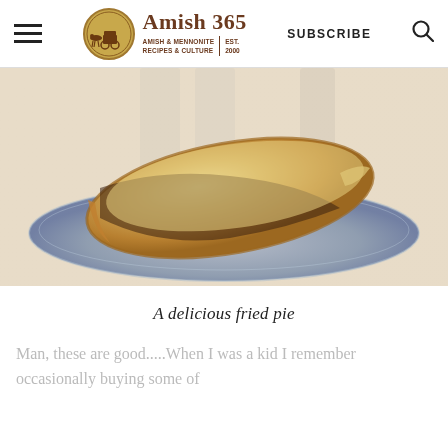Amish 365 — AMISH & MENNONITE RECIPES & CULTURE | EST. 2000 | SUBSCRIBE
[Figure (photo): A fried pie (half-moon shaped pastry) on a blue ceramic plate, sitting on a wooden surface. The pastry is golden brown with dark fruit filling visible at the slice.]
A delicious fried pie
Man, these are good.....When I was a kid I remember occasionally buying some of